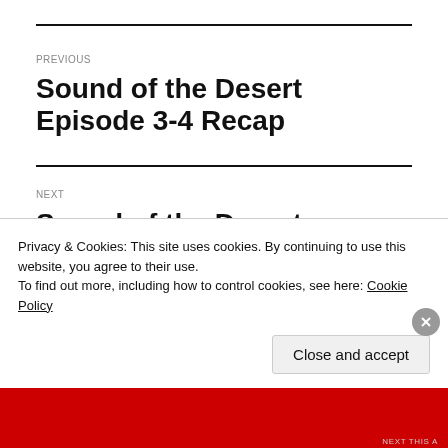PREVIOUS
Sound of the Desert Episode 3-4 Recap
NEXT
Sound of the Desert – Episode
Privacy & Cookies: This site uses cookies. By continuing to use this website, you agree to their use.
To find out more, including how to control cookies, see here: Cookie Policy
Close and accept